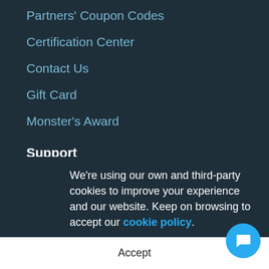Partners' Coupon Codes
Certification Center
Contact Us
Gift Card
Monster's Award
Support
Help Center
Report Spam
Sitemap
Knowledgebase
Become an author
Refu...
We're using our own and third-party cookies to improve your experience and our website. Keep on browsing to accept our cookie policy.
Accept